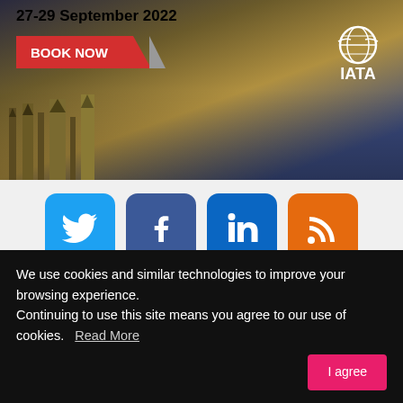[Figure (photo): IATA event advertisement banner showing Big Ben / Westminster with text '27-29 September 2022', a red BOOK NOW button, and the IATA logo]
[Figure (infographic): Row of four social media icon buttons: Twitter (blue bird), Facebook (blue f), LinkedIn (blue in), RSS (orange signal)]
Trending News
[Figure (photo): Thumbnail image of an aircraft on the ground]
DHL Express greets first 777F under SIA partn...
The first of five 777Fs under a crew and maintenance ag...
We use cookies and similar technologies to improve your browsing experience.
Continuing to use this site means you agree to our use of cookies.   Read More
I agree